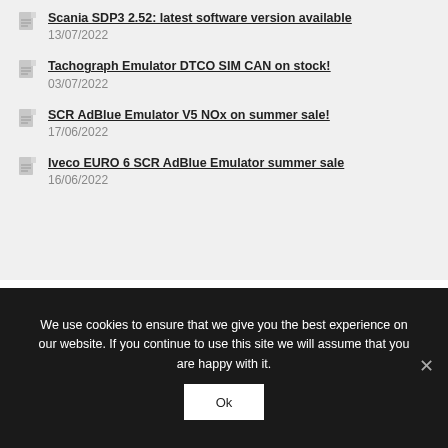Scania SDP3 2.52: latest software version available
13/07/2022
Tachograph Emulator DTCO SIM CAN on stock!
03/07/2022
SCR AdBlue Emulator V5 NOx on summer sale!
17/06/2022
Iveco EURO 6 SCR AdBlue Emulator summer sale
16/06/2022
We use cookies to ensure that we give you the best experience on our website. If you continue to use this site we will assume that you are happy with it.
Ok